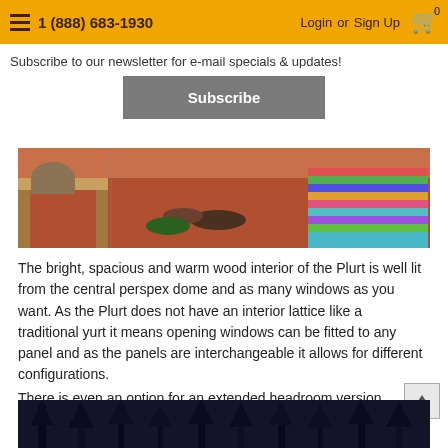1 (888) 683-1930  Login or Sign Up  0
Subscribe to our newsletter for e-mail specials & updates!
Subscribe
[Figure (photo): Interior of a Plurt showing warm reddish-brown wood floor with shoes near wooden bench on left and a colorful striped rug on right]
The bright, spacious and warm wood interior of the Plurt is well lit from the central perspex dome and as many windows as you want. As the Plurt does not have an interior lattice like a traditional yurt it means opening windows can be fitted to any panel and as the panels are interchangeable it allows for different configurations.
There is even an option for an extended headroom version.
[Figure (photo): Dark forest scene, appears to show trees at night or in low light conditions]